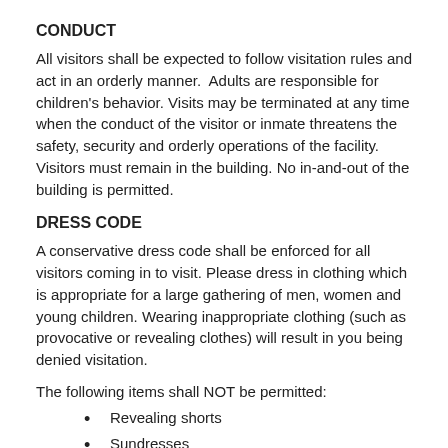CONDUCT
All visitors shall be expected to follow visitation rules and act in an orderly manner.  Adults are responsible for children's behavior. Visits may be terminated at any time when the conduct of the visitor or inmate threatens the safety, security and orderly operations of the facility. Visitors must remain in the building. No in-and-out of the building is permitted.
DRESS CODE
A conservative dress code shall be enforced for all visitors coming in to visit. Please dress in clothing which is appropriate for a large gathering of men, women and young children. Wearing inappropriate clothing (such as provocative or revealing clothes) will result in you being denied visitation.
The following items shall NOT be permitted:
Revealing shorts
Sundresses
Halter tops
Bathing suits
See-through garments of any type